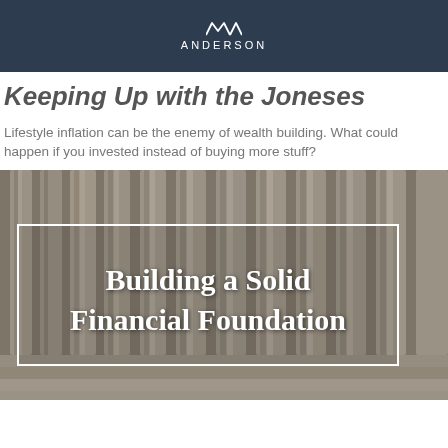ANDERSON
Keeping Up with the Joneses
Lifestyle inflation can be the enemy of wealth building. What could happen if you invested instead of buying more stuff?
[Figure (photo): Photograph of classical stone columns/pillars with an overlaid white-bordered text box reading 'Building a Solid Financial Foundation']
Building a Solid Financial Foundation